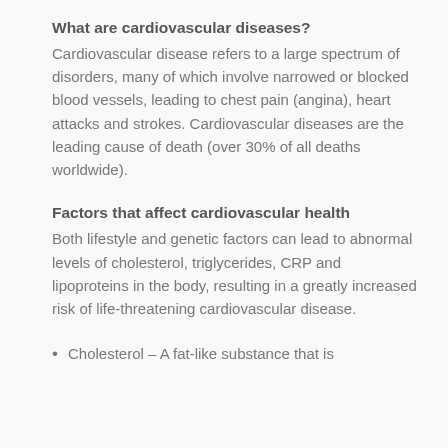What are cardiovascular diseases?
Cardiovascular disease refers to a large spectrum of disorders, many of which involve narrowed or blocked blood vessels, leading to chest pain (angina), heart attacks and strokes. Cardiovascular diseases are the leading cause of death (over 30% of all deaths worldwide).
Factors that affect cardiovascular health
Both lifestyle and genetic factors can lead to abnormal levels of cholesterol, triglycerides, CRP and lipoproteins in the body, resulting in a greatly increased risk of life-threatening cardiovascular disease.
Cholesterol – A fat-like substance that is